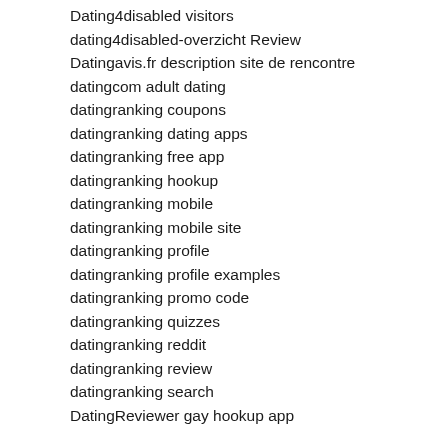Dating4disabled visitors
dating4disabled-overzicht Review
Datingavis.fr description site de rencontre
datingcom adult dating
datingranking coupons
datingranking dating apps
datingranking free app
datingranking hookup
datingranking mobile
datingranking mobile site
datingranking profile
datingranking profile examples
datingranking promo code
datingranking quizzes
datingranking reddit
datingranking review
datingranking search
DatingReviewer gay hookup app